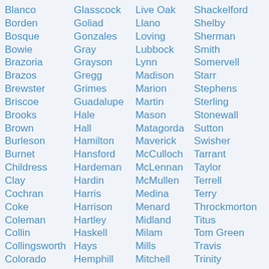Blanco
Borden
Bosque
Bowie
Brazoria
Brazos
Brewster
Briscoe
Brooks
Brown
Burleson
Burnet
Childress
Clay
Cochran
Coke
Coleman
Collin
Collingsworth
Colorado
Glasscock
Goliad
Gonzales
Gray
Grayson
Gregg
Grimes
Guadalupe
Hale
Hall
Hamilton
Hansford
Hardeman
Hardin
Harris
Harrison
Hartley
Haskell
Hays
Hemphill
Live Oak
Llano
Loving
Lubbock
Lynn
Madison
Marion
Martin
Mason
Matagorda
Maverick
McCulloch
McLennan
McMullen
Medina
Menard
Midland
Milam
Mills
Mitchell
Shackelford
Shelby
Sherman
Smith
Somervell
Starr
Stephens
Sterling
Stonewall
Sutton
Swisher
Tarrant
Taylor
Terrell
Terry
Throckmorton
Titus
Tom Green
Travis
Trinity